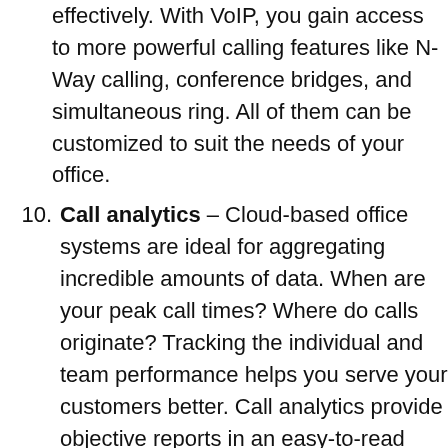(continuation) tool, but you can still manage it even more effectively. With VoIP, you gain access to more powerful calling features like N-Way calling, conference bridges, and simultaneous ring. All of them can be customized to suit the needs of your office.
10. Call analytics – Cloud-based office systems are ideal for aggregating incredible amounts of data. When are your peak call times? Where do calls originate? Tracking the individual and team performance helps you serve your customers better. Call analytics provide objective reports in an easy-to-read dashboard. You can even display metrics and KPIs with your team.
11. Call recording – Implement automatic and on-demand call recording to coach your sales and support teams. Business leaders